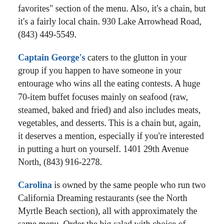favorites" section of the menu. Also, it's a chain, but it's a fairly local chain. 930 Lake Arrowhead Road, (843) 449-5549.
Captain George's caters to the glutton in your group if you happen to have someone in your entourage who wins all the eating contests. A huge 70-item buffet focuses mainly on seafood (raw, steamed, baked and fried) and also includes meats, vegetables, and desserts. This is a chain but, again, it deserves a mention, especially if you're interested in putting a hurt on yourself. 1401 29th Avenue North, (843) 916-2278.
Carolina is owned by the same people who run two California Dreaming restaurants (see the North Myrtle Beach section), all with approximately the same menu. Order the big salad with choice of salmon or chicken toppings, and you'll get a honey-drizzled croissant to go with it. 4617 North Kings Highway, (843) 497-9911.